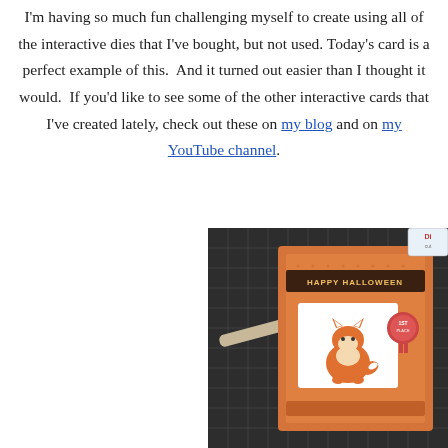I'm having so much fun challenging myself to create using all of the interactive dies that I've bought, but not used. Today's card is a perfect example of this. And it turned out easier than I thought it would. If you'd like to see some of the other interactive cards that I've created lately, check out these on my blog and on my YouTube channel.
[Figure (photo): A Halloween card with an orange fox design, sitting on a dark grid cutting mat. The card reads 'Happy Halloween' and features a cute fox illustration.]